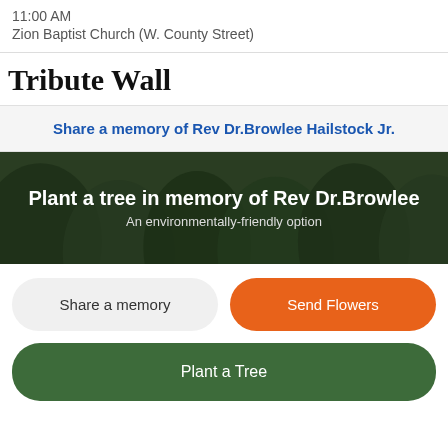11:00 AM
Zion Baptist Church (W. County Street)
Tribute Wall
Share a memory of Rev Dr.Browlee Hailstock Jr.
Plant a tree in memory of Rev Dr.Browlee
An environmentally-friendly option
Share a memory
Send Flowers
Plant a Tree